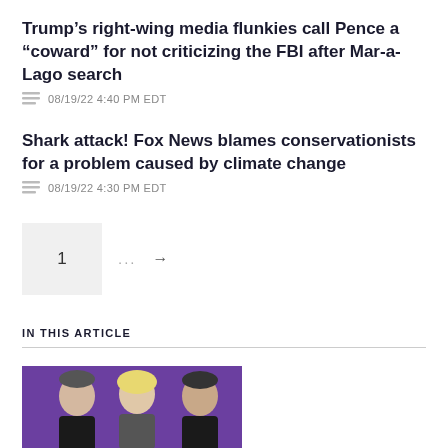Trump's right-wing media flunkies call Pence a “coward” for not criticizing the FBI after Mar-a-Lago search
08/19/22 4:40 PM EDT
Shark attack! Fox News blames conservationists for a problem caused by climate change
08/19/22 4:30 PM EDT
1  ...  →
IN THIS ARTICLE
[Figure (photo): Three people (two men and a woman) on a purple background, cropped at bottom of page]